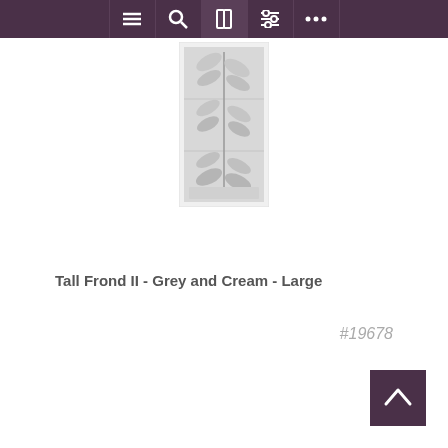Navigation bar with menu, search, book, settings, and more icons
[Figure (photo): A tall vertical artwork showing a stylized fern or frond in grey and cream tones, displayed in a white frame. The frond has repeating leaf shapes along a central stem arranged in a grid-like panel format.]
Tall Frond II - Grey and Cream - Large
#19678
[Figure (other): Back to top button: dark purple square with upward chevron arrow in white]